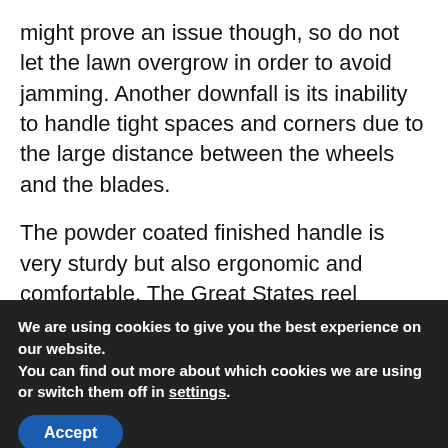might prove an issue though, so do not let the lawn overgrow in order to avoid jamming. Another downfall is its inability to handle tight spaces and corners due to the large distance between the wheels and the blades.
The powder coated finished handle is very sturdy but also ergonomic and comfortable. The Great States reel mower is also easy to assemble and easy to store- you can even hang it on the wall in your garage.The five
We are using cookies to give you the best experience on our website.
You can find out more about which cookies we are using or switch them off in settings.
Accept